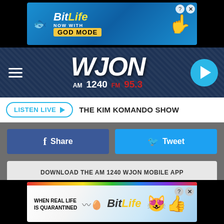[Figure (screenshot): BitLife advertisement banner - NOW WITH GOD MODE on blue background]
[Figure (logo): WJON AM 1240 FM 95.3 radio station header with hamburger menu and play button]
LISTEN LIVE ▶  THE KIM KOMANDO SHOW
Share
Tweet
DOWNLOAD THE AM 1240 WJON MOBILE APP
GET OUR FREE MOBILE APP
[Figure (screenshot): BitLife advertisement - WHEN REAL LIFE IS QUARANTINED with colorful mascot emoji character]